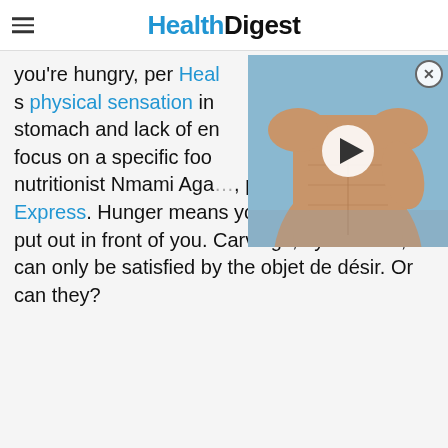HealthDigest
you're hungry, per Heal… s physical sensation in… stomach and lack of en… focus on a specific foo… nutritionist Nmami Aga…, per… Express. Hunger means you'll eat whatever is put out in front of you. Carvings, by contrast, can only be satisfied by the objet de désir. Or can they?
[Figure (photo): A muscular shirtless male torso with a video play button overlay, suggesting an embedded video player on the page.]